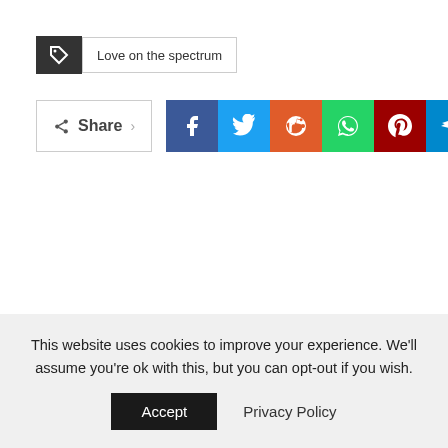Love on the spectrum
[Figure (infographic): Share button row with social media icons: Facebook (blue), Twitter (light blue), Reddit (orange-red), WhatsApp (green), Pinterest (dark red), Telegram (blue)]
This website uses cookies to improve your experience. We'll assume you're ok with this, but you can opt-out if you wish.
Accept   Privacy Policy